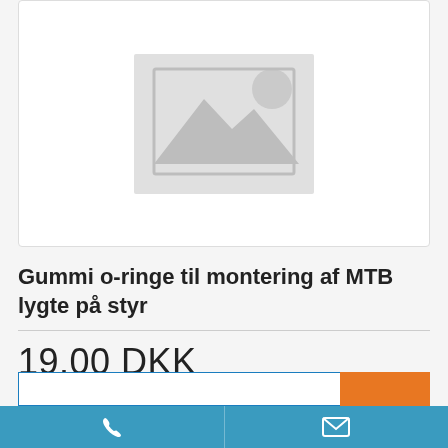[Figure (photo): Product image placeholder with camera/landscape icon on light grey background]
Gummi o-ringe til montering af MTB lygte på styr
19.00 DKK
↓ Læs beskrivelse om produktet
5 på lager
Phone and email contact bar